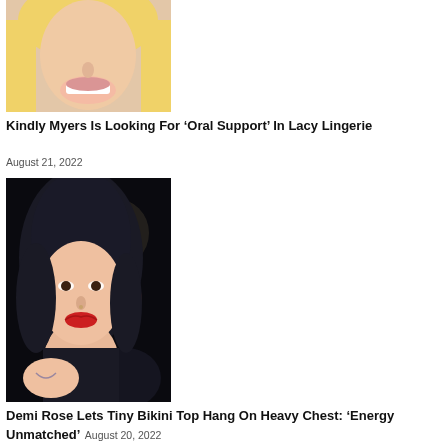[Figure (photo): Close-up photo of a smiling blonde woman]
Kindly Myers Is Looking For ‘Oral Support’ In Lacy Lingerie
August 21, 2022
[Figure (photo): Photo of a dark-haired woman with red lipstick against a dark background with lights]
Demi Rose Lets Tiny Bikini Top Hang On Heavy Chest: ‘Energy Unmatched’
August 20, 2022